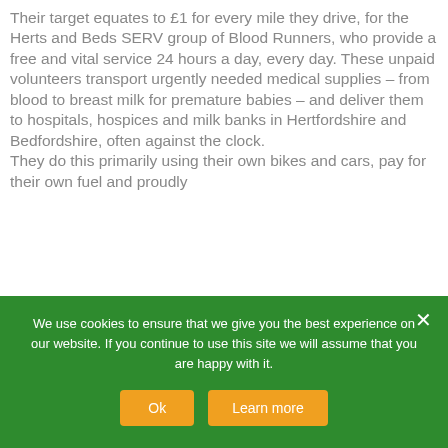Their target equates to £1 for every mile they drive, for the Herts and Beds SERV group of Blood Runners, who provide a free and vital service 24 hours a day, every day. These unpaid volunteers transport urgently needed medical supplies – from blood to breast milk for premature babies – and deliver them to hospitals, hospices and milk banks in Hertfordshire and Bedfordshire, often against the clock. They do this primarily using their own bikes and cars, pay for their own fuel and proudly
We use cookies to ensure that we give you the best experience on our website. If you continue to use this site we will assume that you are happy with it.